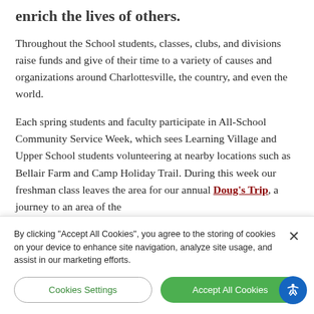enrich the lives of others.
Throughout the School students, classes, clubs, and divisions raise funds and give of their time to a variety of causes and organizations around Charlottesville, the country, and even the world.
Each spring students and faculty participate in All-School Community Service Week, which sees Learning Village and Upper School students volunteering at nearby locations such as Bellair Farm and Camp Holiday Trail. During this week our freshman class leaves the area for our annual Doug's Trip, a journey to an area of the
By clicking “Accept All Cookies”, you agree to the storing of cookies on your device to enhance site navigation, analyze site usage, and assist in our marketing efforts.